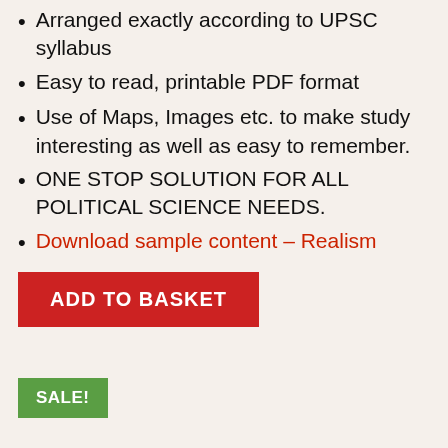Arranged exactly according to UPSC syllabus
Easy to read, printable PDF format
Use of Maps, Images etc. to make study interesting as well as easy to remember.
ONE STOP SOLUTION FOR ALL POLITICAL SCIENCE NEEDS.
Download sample content – Realism
ADD TO BASKET
SALE!